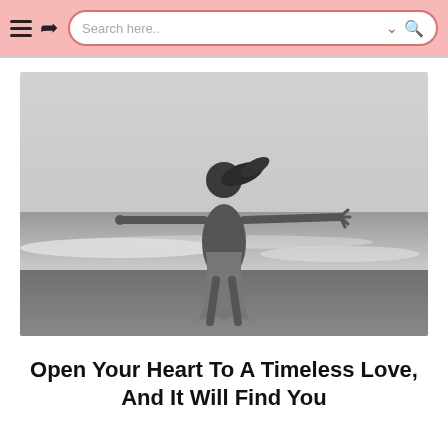Search here..
[Figure (photo): Black and white photo of a woman at the beach with arms spread wide, her hair blowing in the wind, wearing a light dress, with ocean waves behind her.]
Open Your Heart To A Timeless Love, And It Will Find You